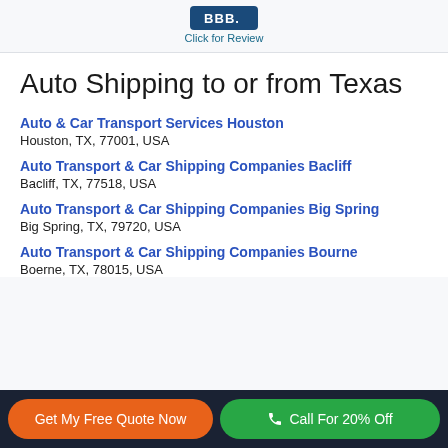[Figure (logo): BBB badge with 'Click for Review' text]
Auto Shipping to or from Texas
Auto & Car Transport Services Houston
Houston, TX, 77001, USA
Auto Transport & Car Shipping Companies Bacliff
Bacliff, TX, 77518, USA
Auto Transport & Car Shipping Companies Big Spring
Big Spring, TX, 79720, USA
Auto Transport & Car Shipping Companies Bourne
Boerne, TX, 78015, USA
Get My Free Quote Now | Call For 20% Off